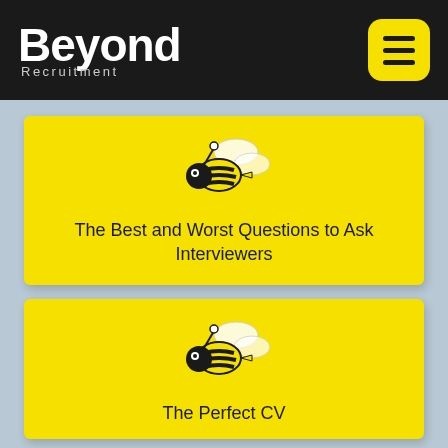Beyond Recruitment
[Figure (illustration): Yellow card with bee illustration and title: The Best and Worst Questions to Ask Interviewers]
The Best and Worst Questions to Ask Interviewers
[Figure (illustration): Yellow card with bee illustration and title: The Perfect CV]
The Perfect CV